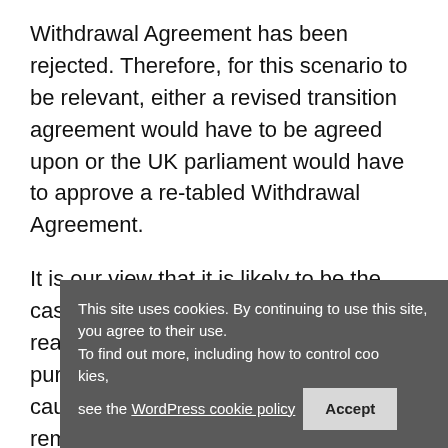Withdrawal Agreement has been rejected. Therefore, for this scenario to be relevant, either a revised transition agreement would have to be agreed upon or the UK parliament would have to approve a re-tabled Withdrawal Agreement.
It is our view that it is likely to be the case that if any transition agreement is reached, for data protection-related purposes at least, it is highly likely to cause the UK to be treated as if it remains an EU member state during any transition period (indeed this is/was the case in the rejected Withdrawal Agreement.
If any such agreement is reached it is reach... terms as are described above relevant to data
This site uses cookies. By continuing to use this site, you agree to their use.
To find out more, including how to control cookies, see the WordPress cookie policy